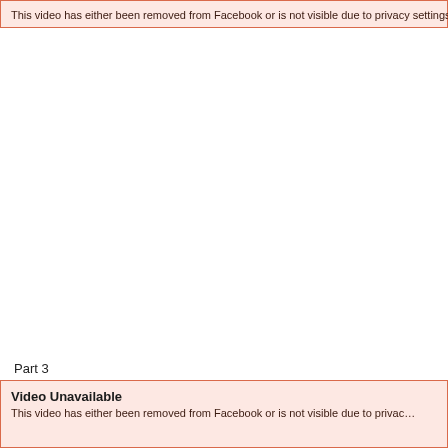This video has either been removed from Facebook or is not visible due to privacy settings.
Part 3
Video Unavailable
This video has either been removed from Facebook or is not visible due to privacy settings.